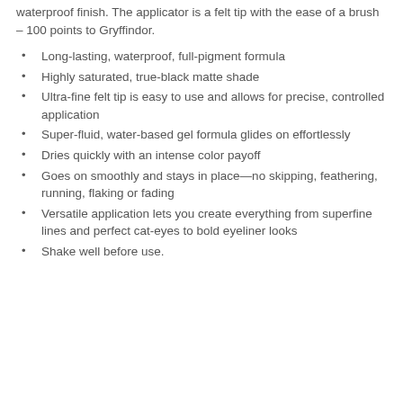waterproof finish. The applicator is a felt tip with the ease of a brush – 100 points to Gryffindor.
Long-lasting, waterproof, full-pigment formula
Highly saturated, true-black matte shade
Ultra-fine felt tip is easy to use and allows for precise, controlled application
Super-fluid, water-based gel formula glides on effortlessly
Dries quickly with an intense color payoff
Goes on smoothly and stays in place—no skipping, feathering, running, flaking or fading
Versatile application lets you create everything from superfine lines and perfect cat-eyes to bold eyeliner looks
Shake well before use.